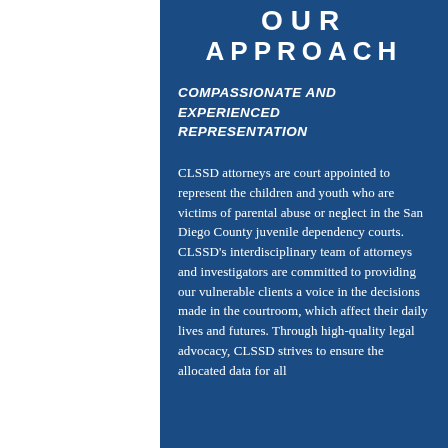OUR APPROACH
COMPASSIONATE AND EXPERIENCED REPRESENTATION
CLSSD attorneys are court appointed to represent the children and youth who are victims of parental abuse or neglect in the San Diego County juvenile dependency courts. CLSSD’s interdisciplinary team of attorneys and investigators are committed to providing our vulnerable clients a voice in the decisions made in the courtroom, which affect their daily lives and futures. Through high-quality legal advocacy, CLSSD strives to ensure the allocated data for all